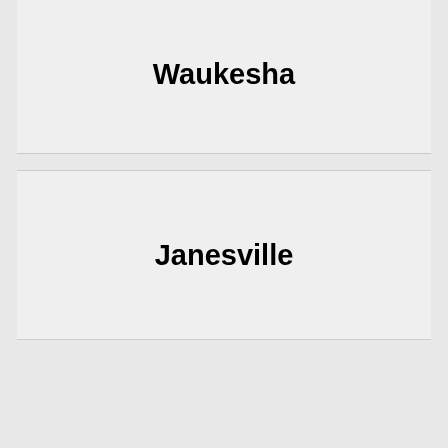Waukesha
Janesville
West Bend
Sheboygan
Beloit